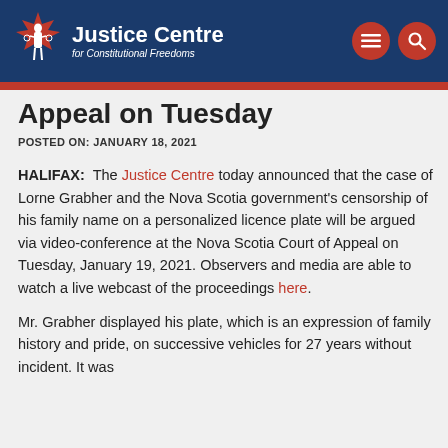Justice Centre for Constitutional Freedoms
Appeal on Tuesday
POSTED ON: JANUARY 18, 2021
HALIFAX:  The Justice Centre today announced that the case of Lorne Grabher and the Nova Scotia government's censorship of his family name on a personalized licence plate will be argued via video-conference at the Nova Scotia Court of Appeal on Tuesday, January 19, 2021. Observers and media are able to watch a live webcast of the proceedings here.
Mr. Grabher displayed his plate, which is an expression of family history and pride, on successive vehicles for 27 years without incident. It was